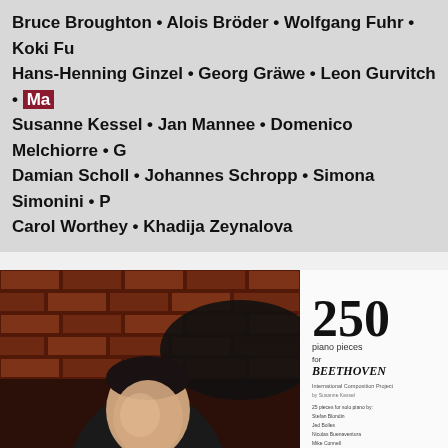Bruce Broughton • Alois Bröder • Wolfgang Fuhr • Koki Fu Hans-Henning Ginzel • Georg Gräwe • Leon Gurvitch • Ma Susanne Kessel • Jan Mannee • Domenico Melchiorre • G Damian Scholl • Johannes Schropp • Simona Simonini • P Carol Worthey • Khadija Zeynalova
[Figure (photo): Black and white photo of a man in a black jacket leaning on a piano, with a brick wall background]
[Figure (photo): Book cover: '250 piano pieces for BEETHOVEN' - International Composition Project]